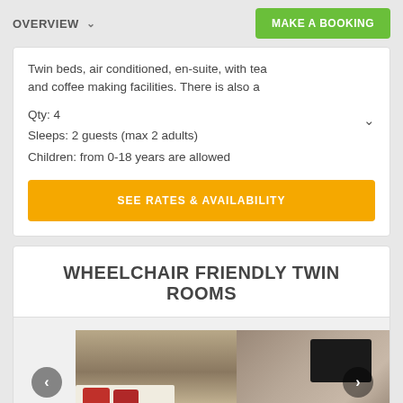OVERVIEW  MAKE A BOOKING
Twin beds, air conditioned, en-suite, with tea and coffee making facilities. There is also a
Qty: 4
Sleeps: 2 guests (max 2 adults)
Children: from 0-18 years are allowed
SEE RATES & AVAILABILITY
WHEELCHAIR FRIENDLY TWIN ROOMS
[Figure (photo): Two side-by-side photos of a wheelchair friendly twin room: left photo shows beds with red pillows and curtained window; right photo shows room with TV and curtains.]